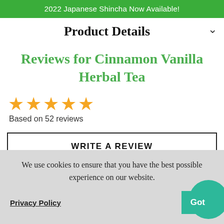2022 Japanese Shincha Now Available!
Product Details
Reviews for Cinnamon Vanilla Herbal Tea
[Figure (other): Five yellow star rating icons]
Based on 52 reviews
WRITE A REVIEW
We use cookies to ensure that you have the best possible experience on our website.
Privacy Policy
Got